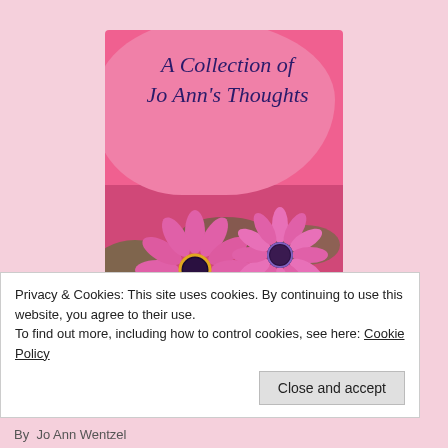[Figure (illustration): Book cover for 'A Collection of Jo Ann's Thoughts' with pink background, italic dark blue script title on a pink bubble/banner shape, and a photo of pink daisy/gerbera flowers below.]
Privacy & Cookies: This site uses cookies. By continuing to use this website, you agree to their use.
To find out more, including how to control cookies, see here: Cookie Policy
Close and accept
By  Jo Ann Wentzel